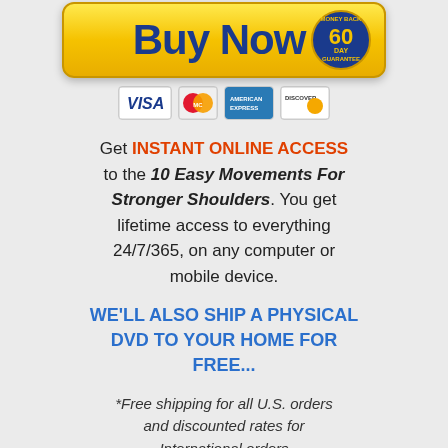[Figure (illustration): Partial green leaves/plant visible at top of page]
[Figure (illustration): Red 'Click Here' cursive text with red arrow pointing to Buy Now button]
[Figure (illustration): Yellow 'Buy Now' button with 60-day money back guarantee badge, and payment icons (VISA, MasterCard, American Express, Discover)]
Get INSTANT ONLINE ACCESS to the 10 Easy Movements For Stronger Shoulders. You get lifetime access to everything 24/7/365, on any computer or mobile device.
WE'LL ALSO SHIP A PHYSICAL DVD TO YOUR HOME FOR FREE...
*Free shipping for all U.S. orders and discounted rates for International orders